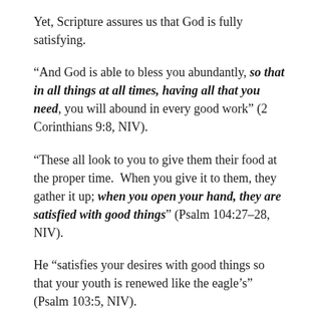Yet, Scripture assures us that God is fully satisfying.
“And God is able to bless you abundantly, so that in all things at all times, having all that you need, you will abound in every good work” (2 Corinthians 9:8, NIV).
“These all look to you to give them their food at the proper time.  When you give it to them, they gather it up; when you open your hand, they are satisfied with good things” (Psalm 104:27–28, NIV).
He “satisfies your desires with good things so that your youth is renewed like the eagle’s” (Psalm 103:5, NIV).
Have you felt empty, thirsty, hungry, plagued with